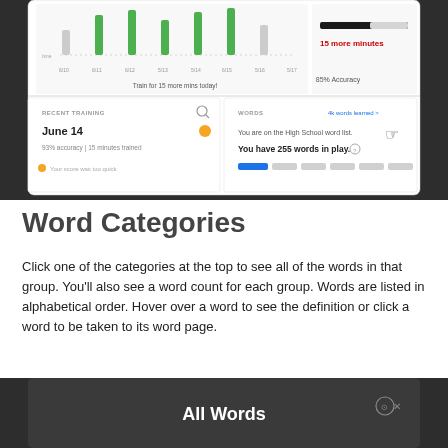[Figure (screenshot): App dashboard screenshot showing Recent Training section (June 14, 93% accuracy | 15 minutes trained, Your score was too quick) and Words section (You are on the High School word list. You have 255 words in play.) with progress bars and a cursor icon. Upper portion shows bar/line chart with green bars and text 'Train for 15 more mins today!' and '85% Accuracy'.]
Word Categories
Click one of the categories at the top to see all of the words in that group. You'll also see a word count for each group. Words are listed in alphabetical order. Hover over a word to see the definition or click a word to be taken to its word page.
[Figure (screenshot): Dark app interface showing 'All Words' header with an X button in the upper right, white text on dark background.]